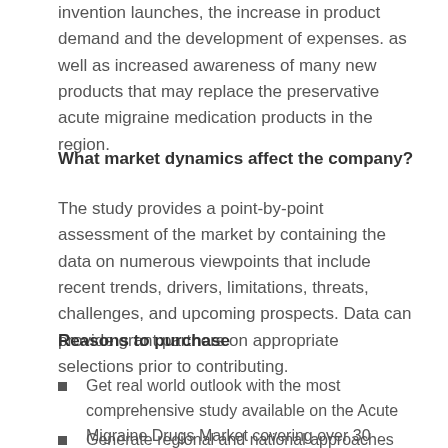invention launches, the increase in product demand and the development of expenses. as well as increased awareness of many new products that may replace the preservative acute migraine medication products in the region.
What market dynamics affect the company?
The study provides a point-by-point assessment of the market by containing the data on numerous viewpoints that include recent trends, drivers, limitations, threats, challenges, and upcoming prospects. Data can provide grant partners on appropriate selections prior to contributing.
Reasons to purchase
Get real world outlook with the most comprehensive study available on the Acute Migraine Drugs Market covering over 30 countries.
Generate regional and national approaches based on